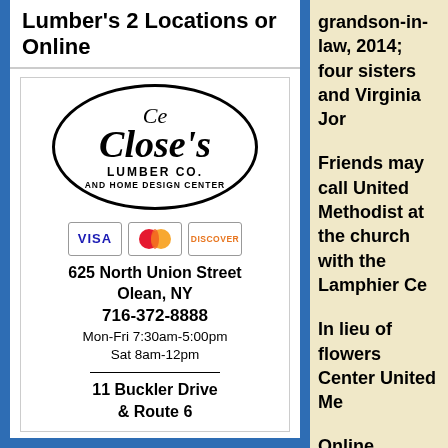Lumber's 2 Locations or Online
[Figure (logo): Close's Lumber Co. and Home Design Center oval logo with credit card icons (Visa, Mastercard, Discover)]
625 North Union Street
Olean, NY
716-372-8888
Mon-Fri 7:30am-5:00pm
Sat 8am-12pm
11 Buckler Drive
& Route 6
grandson-in-law, 2014; four sisters and Virginia Jor
Friends may call United Methodist at the church with the Lamphier Ce
In lieu of flowers Center United Me
Online condolen
Posted by Solomo